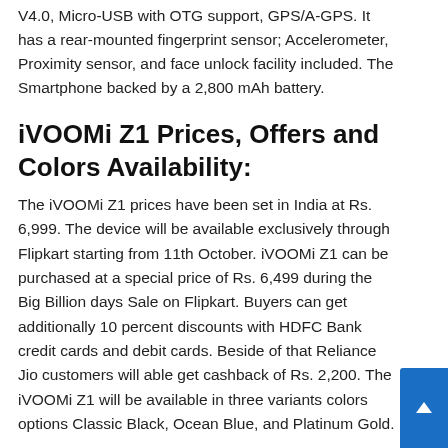V4.0, Micro-USB with OTG support, GPS/A-GPS. It has a rear-mounted fingerprint sensor; Accelerometer, Proximity sensor, and face unlock facility included. The Smartphone backed by a 2,800 mAh battery.
iVOOMi Z1 Prices, Offers and Colors Availability:
The iVOOMi Z1 prices have been set in India at Rs. 6,999. The device will be available exclusively through Flipkart starting from 11th October. iVOOMi Z1 can be purchased at a special price of Rs. 6,499 during the Big Billion days Sale on Flipkart. Buyers can get additionally 10 percent discounts with HDFC Bank credit cards and debit cards. Beside of that Reliance Jio customers will able get cashback of Rs. 2,200. The iVOOMi Z1 will be available in three variants colors options Classic Black, Ocean Blue, and Platinum Gold.